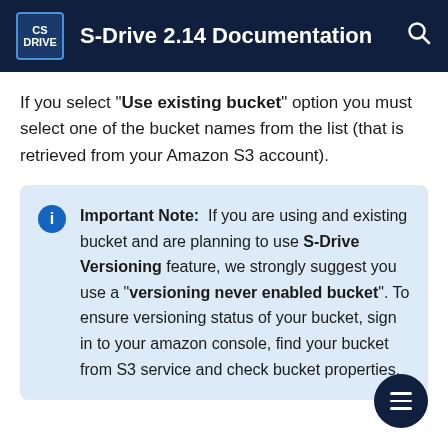S-Drive 2.14 Documentation
If you select "Use existing bucket" option you must select one of the bucket names from the list (that is retrieved from your Amazon S3 account).
Important Note: If you are using and existing bucket and are planning to use S-Drive Versioning feature, we strongly suggest you use a "versioning never enabled bucket". To ensure versioning status of your bucket, sign in to your amazon console, find your bucket from S3 service and check bucket properties.